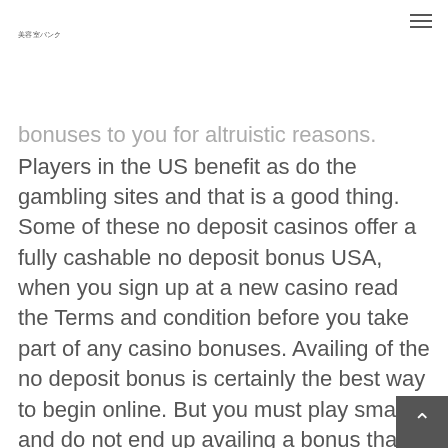美容室バンク
bonuses to you for altruistic reasons. Players in the US benefit as do the gambling sites and that is a good thing. Some of these no deposit casinos offer a fully cashable no deposit bonus USA, when you sign up at a new casino read the Terms and condition before you take part of any casino bonuses. Availing of the no deposit bonus is certainly the best way to begin online. But you must play smart and do not end up availing a bonus that is not right for you.